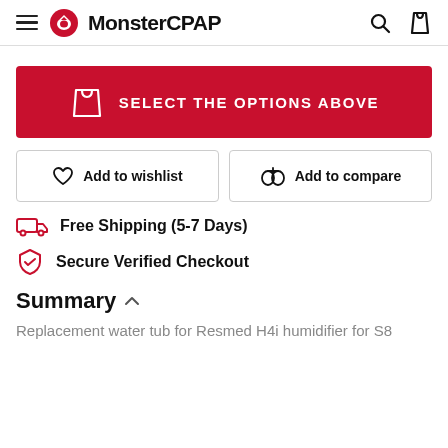MonsterCPAP
[Figure (screenshot): Red button with shopping bag icon and text SELECT THE OPTIONS ABOVE]
Add to wishlist
Add to compare
Free Shipping (5-7 Days)
Secure Verified Checkout
Summary
Replacement water tub for Resmed H4i humidifier for S8